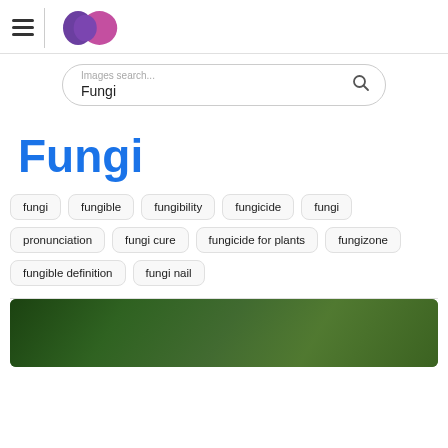[Figure (logo): App logo with two overlapping circles (purple and pink) beside a vertical divider and hamburger menu icon]
Images search... Fungi
Fungi
fungi
fungible
fungibility
fungicide
fungi pronunciation
fungi cure
fungicide for plants
fungizone
fungible definition
fungi nail
[Figure (photo): Blurred green nature/moss background photo]